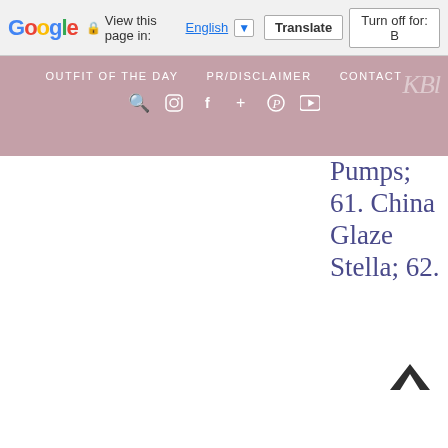Google  View this page in: English [v]  Translate  Turn off for: B
OUTFIT OF THE DAY   PR/DISCLAIMER   CONTACT
Pumps; 61. China Glaze Stella; 62.